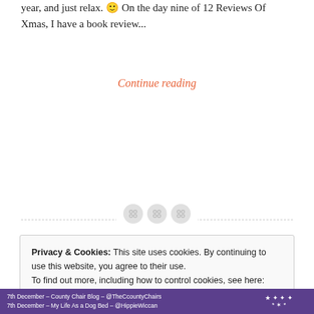year, and just relax. 🙂 On the day nine of 12 Reviews Of Xmas, I have a book review...
Continue reading
[Figure (other): Section divider with dashed horizontal line and three circular button icons in the center]
Privacy & Cookies: This site uses cookies. By continuing to use this website, you agree to their use.
To find out more, including how to control cookies, see here: Cookie Policy
Close and accept
7th December – County Chair Blog – @TheCcountyChairs
7th December – My Life As a Dog Bed – @HippieWiccan